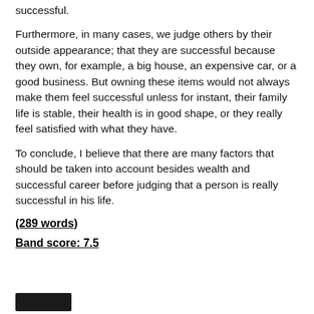successful.
Furthermore, in many cases, we judge others by their outside appearance; that they are successful because they own, for example, a big house, an expensive car, or a good business. But owning these items would not always make them feel successful unless for instant, their family life is stable, their health is in good shape, or they really feel satisfied with what they have.
To conclude, I believe that there are many factors that should be taken into account besides wealth and successful career before judging that a person is really successful in his life.
(289 words)
Band score: 7.5